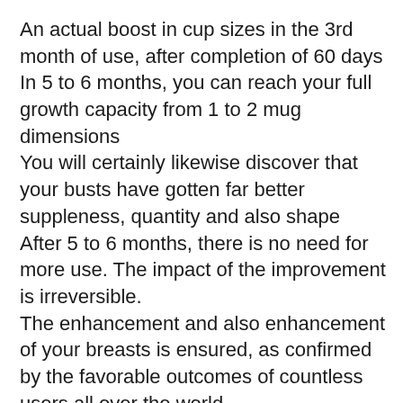An actual boost in cup sizes in the 3rd month of use, after completion of 60 days
In 5 to 6 months, you can reach your full growth capacity from 1 to 2 mug dimensions
You will certainly likewise discover that your busts have gotten far better suppleness, quantity and also shape
After 5 to 6 months, there is no need for more use. The impact of the improvement is irreversible.
The enhancement and also enhancement of your breasts is ensured, as confirmed by the favorable outcomes of countless users all over the world.
Consumer endorsements on Amazon.com for Bust Actives verify that this item is